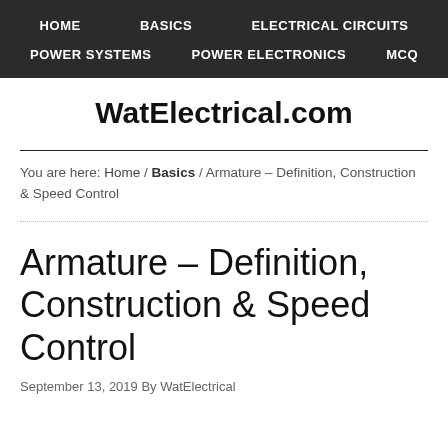HOME   BASICS   ELECTRICAL CIRCUITS   POWER SYSTEMS   POWER ELECTRONICS   MCQ
WatElectrical.com
You are here: Home / Basics / Armature – Definition, Construction & Speed Control
Armature – Definition, Construction & Speed Control
September 13, 2019 By WatElectrical